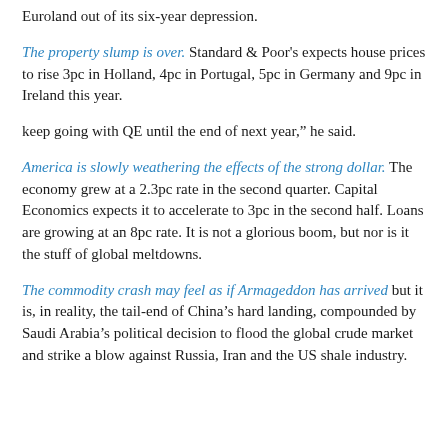Euroland out of its six-year depression.
The property slump is over. Standard & Poor's expects house prices to rise 3pc in Holland, 4pc in Portugal, 5pc in Germany and 9pc in Ireland this year.
keep going with QE until the end of next year," he said.
America is slowly weathering the effects of the strong dollar. The economy grew at a 2.3pc rate in the second quarter. Capital Economics expects it to accelerate to 3pc in the second half. Loans are growing at an 8pc rate. It is not a glorious boom, but nor is it the stuff of global meltdowns.
The commodity crash may feel as if Armageddon has arrived but it is, in reality, the tail-end of China's hard landing, compounded by Saudi Arabia's political decision to flood the global crude market and strike a blow against Russia, Iran and the US shale industry.